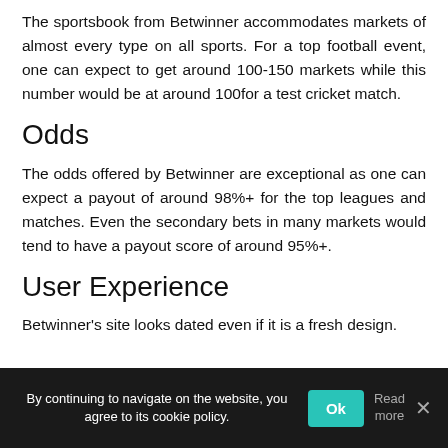The sportsbook from Betwinner accommodates markets of almost every type on all sports. For a top football event, one can expect to get around 100-150 markets while this number would be at around 100for a test cricket match.
Odds
The odds offered by Betwinner are exceptional as one can expect a payout of around 98%+ for the top leagues and matches. Even the secondary bets in many markets would tend to have a payout score of around 95%+.
User Experience
Betwinner's site looks dated even if it is a fresh design.
By continuing to navigate on the website, you agree to its cookie policy.